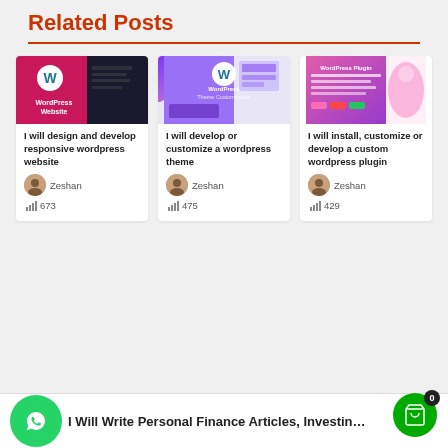Related Posts
[Figure (screenshot): WordPress Website thumbnail - red and dark gradient with WordPress logo and website mockup]
I will design and develop responsive wordpress website
Zeshan
673
[Figure (screenshot): WordPress Theme Customization thumbnail - purple gradient with WordPress logo and theme mockup]
I will develop or customize a wordpress theme
Zeshan
475
[Figure (screenshot): WordPress Plugin thumbnail - pink and purple gradient with plugin interface mockup]
I will install, customize or develop a custom wordpress plugin
Zeshan
429
I Will Write Personal Finance Articles, Investing Blog Posts